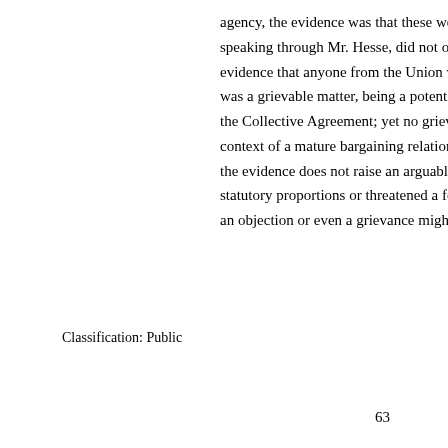agency, the evidence was that these were all enhancem speaking through Mr. Hesse, did not object to the subs evidence that anyone from the Union voiced objection was a grievable matter, being a potential breach of the the Collective Agreement; yet no grievance was filed. context of a mature bargaining relationship of over 30 the evidence does not raise an arguable case that the E statutory proportions or threatened a foundational repr an objection or even a grievance might have been justi
Classification: Public
63